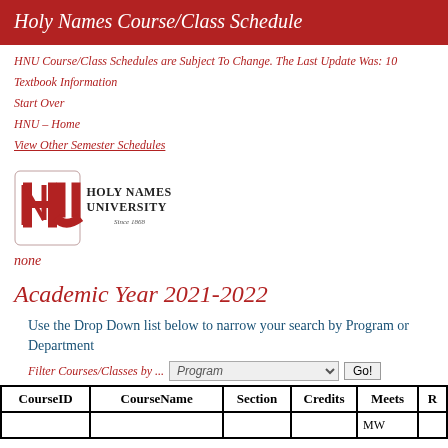Holy Names Course/Class Schedule
HNU Course/Class Schedules are Subject To Change. The Last Update Was: 10
Textbook Information
Start Over
HNU - Home
View Other Semester Schedules
[Figure (logo): Holy Names University logo with HNU monogram and text 'Holy Names University Since 1868']
none
Academic Year 2021-2022
Use the Drop Down list below to narrow your search by Program or Department
Filter Courses/Classes by ... Program Go!
| CourseID | CourseName | Section | Credits | Meets | R |
| --- | --- | --- | --- | --- | --- |
|  |  |  |  | MW |  |